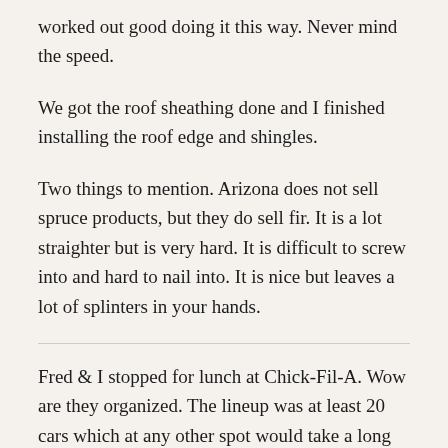worked out good doing it this way. Never mind the speed.
We got the roof sheathing done and I finished installing the roof edge and shingles.
Two things to mention. Arizona does not sell spruce products, but they do sell fir. It is a lot straighter but is very hard. It is difficult to screw into and hard to nail into. It is nice but leaves a lot of splinters in your hands.
Fred & I stopped for lunch at Chick-Fil-A. Wow are they organized. The lineup was at least 20 cars which at any other spot would take a long time to get thru,